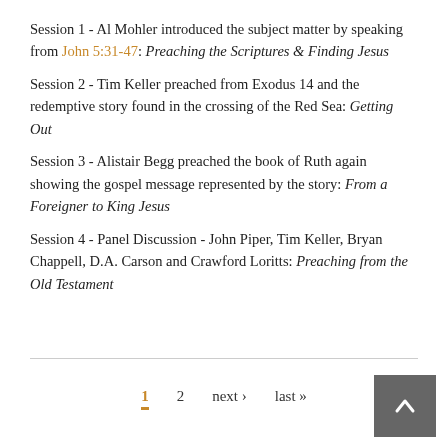Session 1 - Al Mohler introduced the subject matter by speaking from John 5:31-47: Preaching the Scriptures & Finding Jesus
Session 2 - Tim Keller preached from Exodus 14 and the redemptive story found in the crossing of the Red Sea: Getting Out
Session 3 - Alistair Begg preached the book of Ruth again showing the gospel message represented by the story: From a Foreigner to King Jesus
Session 4 - Panel Discussion - John Piper, Tim Keller, Bryan Chappell, D.A. Carson and Crawford Loritts: Preaching from the Old Testament
1  2  next ›  last »